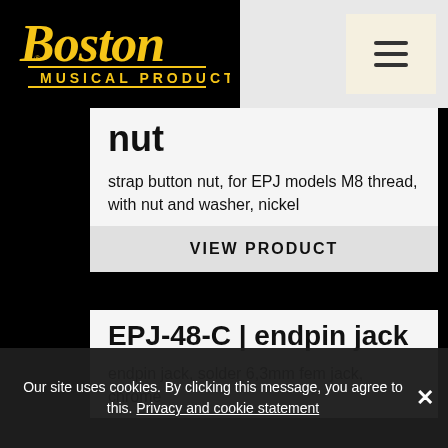Boston Musical Products
nut
strap button nut, for EPJ models M8 thread, with nut and washer, nickel
VIEW PRODUCT
EPJ-48-C | endpin jack
endpin jack, solder 6,3mm fem jack, chrome
Our site uses cookies. By clicking this message, you agree to this. Privacy and cookie statement